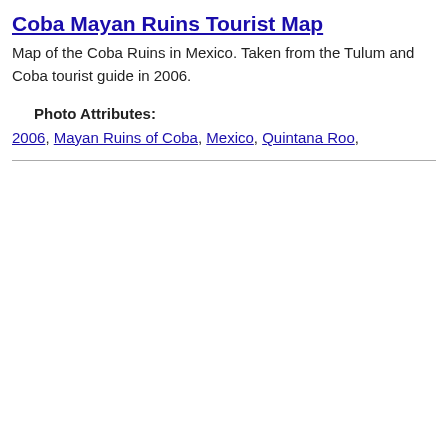Coba Mayan Ruins Tourist Map
Map of the Coba Ruins in Mexico. Taken from the Tulum and Coba tourist guide in 2006.
Photo Attributes:
2006, Mayan Ruins of Coba, Mexico, Quintana Roo,